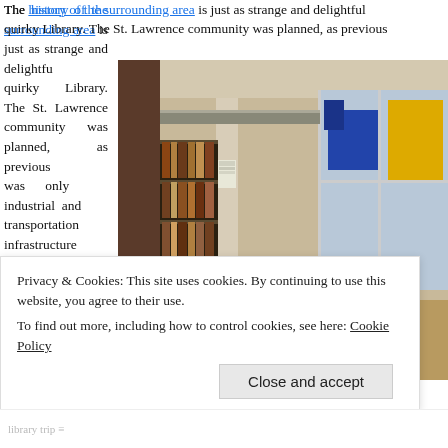The history of the surrounding area is just as strange and delightful as the quirky Library. The St. Lawrence community was planned, as previous was only industrial and transportation infrastructure in the area. This changed in the 1970's, when City Council decided to redevelop the area into a mixed
[Figure (photo): Interior of a public library branch showing bookshelves, children's blue tables and chairs, large windows with construction vehicles visible outside.]
Privacy & Cookies: This site uses cookies. By continuing to use this website, you agree to their use. To find out more, including how to control cookies, see here: Cookie Policy
Close and accept